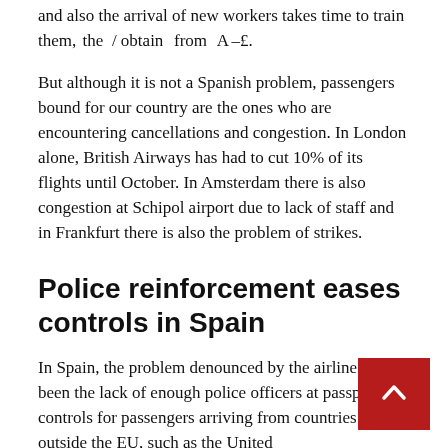and also the arrival of new workers takes time to train them, they obtain from ALe.
But although it is not a Spanish problem, passengers bound for our country are the ones who are encountering cancellations and congestion. In London alone, British Airways has had to cut 10% of its flights until October. In Amsterdam there is also congestion at Schipol airport due to lack of staff and in Frankfurt there is also the problem of strikes.
Police reinforcement eases controls in Spain
In Spain, the problem denounced by the airlines has been the lack of enough police officers at passport controls for passengers arriving from countries outside the EU, such as the United